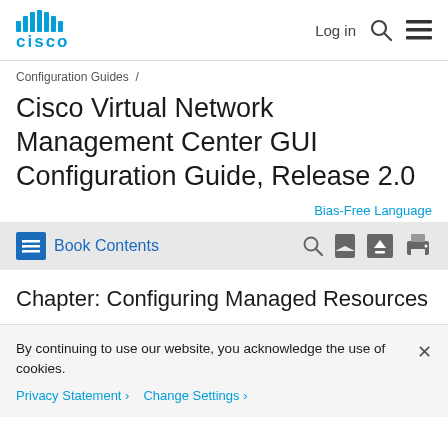Cisco — Log in [search] [menu]
Configuration Guides /
Cisco Virtual Network Management Center GUI Configuration Guide, Release 2.0
Bias-Free Language
Book Contents
Chapter: Configuring Managed Resources
By continuing to use our website, you acknowledge the use of cookies.
Privacy Statement > Change Settings >